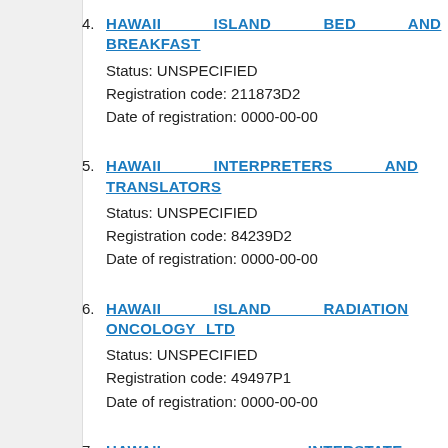4. HAWAII ISLAND BED AND BREAKFAST
Status: UNSPECIFIED
Registration code: 211873D2
Date of registration: 0000-00-00
5. HAWAII INTERPRETERS AND TRANSLATORS
Status: UNSPECIFIED
Registration code: 84239D2
Date of registration: 0000-00-00
6. HAWAII ISLAND RADIATION ONCOLOGY LTD
Status: UNSPECIFIED
Registration code: 49497P1
Date of registration: 0000-00-00
7. HAWAII INTERSTATE